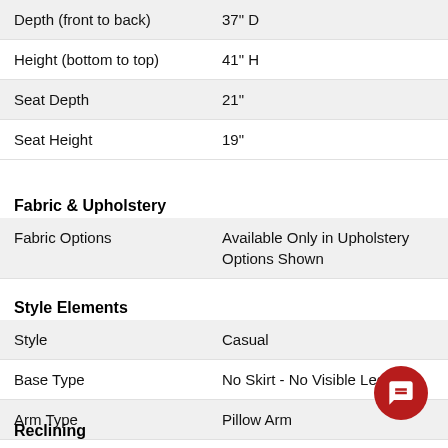| Depth (front to back) | 37" D |
| Height (bottom to top) | 41" H |
| Seat Depth | 21" |
| Seat Height | 19" |
Fabric & Upholstery
| Fabric Options | Available Only in Upholstery Options Shown |
Style Elements
| Style | Casual |
| Base Type | No Skirt - No Visible Leg |
| Arm Type | Pillow Arm |
| Base Description | Minimal Show Recline Mechanism |
Reclining